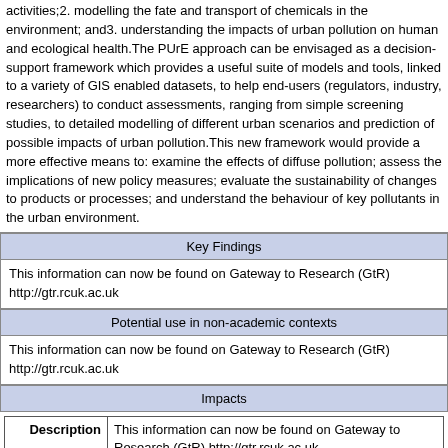activities;2. modelling the fate and transport of chemicals in the environment; and3. understanding the impacts of urban pollution on human and ecological health.The PUrE approach can be envisaged as a decision-support framework which provides a useful suite of models and tools, linked to a variety of GIS enabled datasets, to help end-users (regulators, industry, researchers) to conduct assessments, ranging from simple screening studies, to detailed modelling of different urban scenarios and prediction of possible impacts of urban pollution.This new framework would provide a more effective means to: examine the effects of diffuse pollution; assess the implications of new policy measures; evaluate the sustainability of changes to products or processes; and understand the behaviour of key pollutants in the urban environment.
Key Findings
This information can now be found on Gateway to Research (GtR) http://gtr.rcuk.ac.uk
Potential use in non-academic contexts
This information can now be found on Gateway to Research (GtR) http://gtr.rcuk.ac.uk
Impacts
| Description | Summary | Date Materialised |
| --- | --- | --- |
| This information can now be found on Gateway to Research (GtR) http://gtr.rcuk.ac.uk |  |  |
Sectors submitted by the Researcher